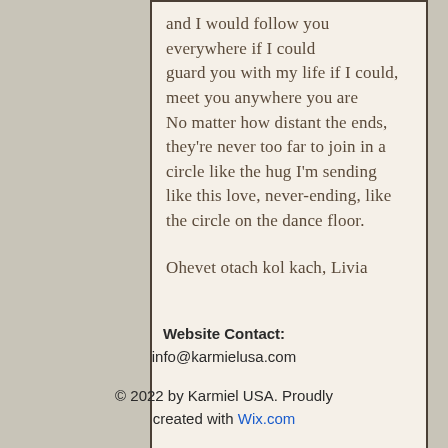and I would follow you everywhere if I could
guard you with my life if I could,
meet you anywhere you are
No matter how distant the ends,
they're never too far to join in a
circle like the hug I'm sending
like this love, never-ending, like
the circle on the dance floor.

Ohevet otach kol kach, Livia
Website Contact:
info@karmielusa.com
© 2022 by Karmiel USA. Proudly created with Wix.com